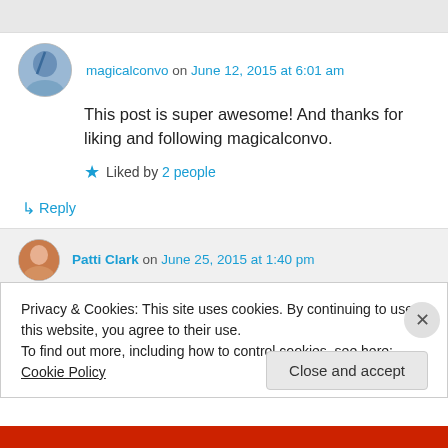magicalconvo on June 12, 2015 at 6:01 am
This post is super awesome! And thanks for liking and following magicalconvo.
Liked by 2 people
↳ Reply
Patti Clark on June 25, 2015 at 1:40 pm
Privacy & Cookies: This site uses cookies. By continuing to use this website, you agree to their use.
To find out more, including how to control cookies, see here: Cookie Policy
Close and accept